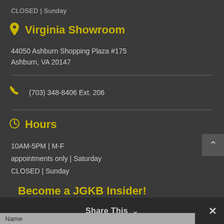CLOSED | Sunday
Virginia Showroom
44050 Ashburn Shopping Plaza #175
Ashburn, VA 20147
(703) 348-8406 Ext. 206
Hours
10AM-5PM | M-F
appointments only | Saturday
CLOSED | Sunday
Become a JGKB Insider!
Stay inspired with the best in kitchen & bath designs
Share This